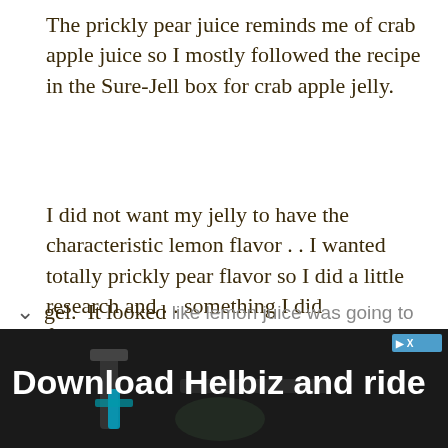The prickly pear juice reminds me of crab apple juice so I mostly followed the recipe in the Sure-Jell box for crab apple jelly.
I did not want my jelly to have the characteristic lemon flavor . . I wanted totally prickly pear flavor so I did a little research and . . something I did fruits need a little sugar and pectin g and it seems to ev who make jelly, is
gel.  It looked like lemon juice was going to
[Figure (photo): Advertisement banner: dark blurred background image of a bicycle handlebar/scooter with white bold text 'Download Helbiz and ride' and a blue 'D X' ad label in the top right corner.]